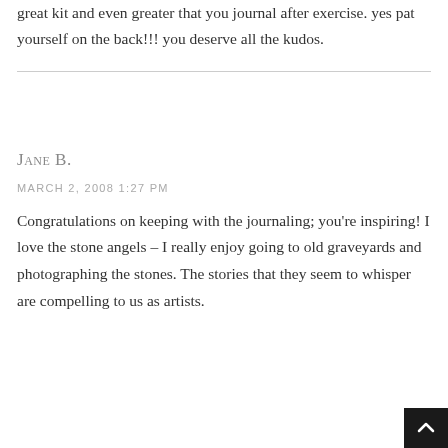great kit and even greater that you journal after exercise. yes pat yourself on the back!!! you deserve all the kudos.
Jane B.
MARCH 2, 2008 1:27 PM
Congratulations on keeping with the journaling; you're inspiring! I love the stone angels – I really enjoy going to old graveyards and photographing the stones. The stories that they seem to whisper are compelling to us as artists.